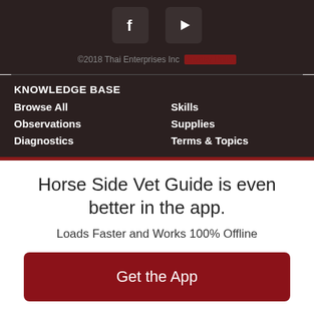[Figure (illustration): Social media icons: Facebook (f) and YouTube (play button) on dark background]
©2018 Thai Enterprises Inc   [redacted]
KNOWLEDGE BASE
Browse All
Skills
Observations
Supplies
Diagnostics
Terms & Topics
Horse Side Vet Guide is even better in the app.
Loads Faster and Works 100% Offline
Get the App
or continue to mobile site